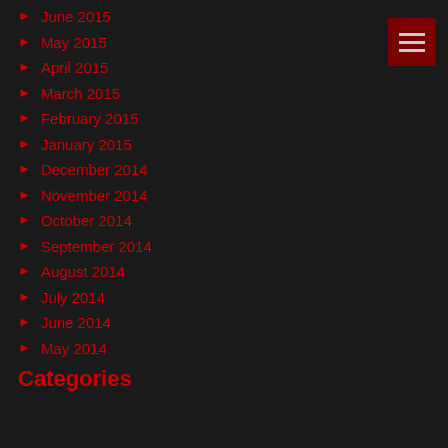June 2015
May 2015
April 2015
March 2015
February 2015
January 2015
December 2014
November 2014
October 2014
September 2014
August 2014
July 2014
June 2014
May 2014
Categories
Uncategorized